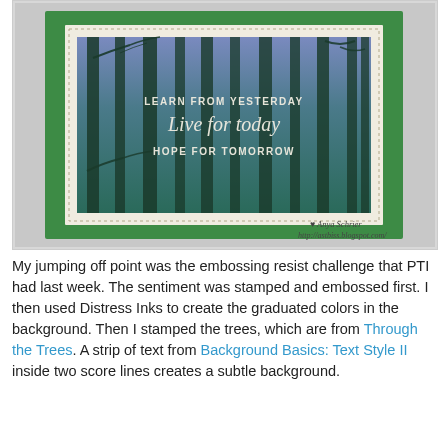[Figure (photo): A handmade greeting card on a green cardstock base with a cream mat layer. The card features an image of forest trees with a blue-purple gradient background and white embossed text reading 'LEARN FROM YESTERDAY / Live for today / HOPE FOR TOMORROW'. Attribution text reads '♥ Anya Schrier http://astbiss.blogspot.com/' in the lower right corner.]
My jumping off point was the embossing resist challenge that PTI had last week. The sentiment was stamped and embossed first. I then used Distress Inks to create the graduated colors in the background. Then I stamped the trees, which are from Through the Trees. A strip of text from Background Basics: Text Style II inside two score lines creates a subtle background.